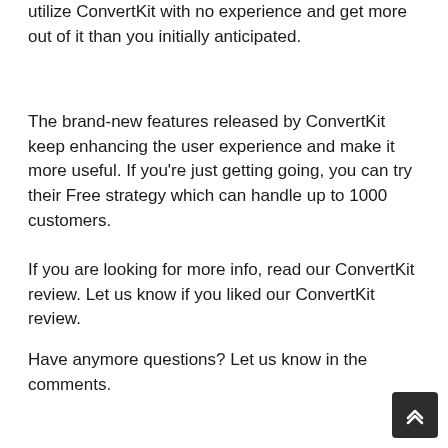utilize ConvertKit with no experience and get more out of it than you initially anticipated.
The brand-new features released by ConvertKit keep enhancing the user experience and make it more useful. If you're just getting going, you can try their Free strategy which can handle up to 1000 customers.
If you are looking for more info, read our ConvertKit review. Let us know if you liked our ConvertKit review.
Have anymore questions? Let us know in the comments.